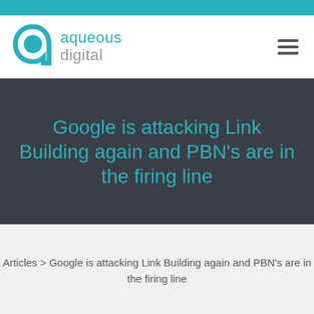aqueous digital
Google is attacking Link Building again and PBN's are in the firing line
Articles > Google is attacking Link Building again and PBN's are in the firing line